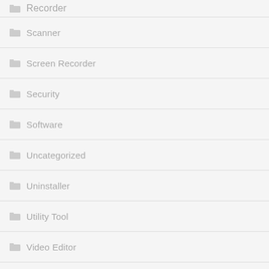Recorder
Scanner
Screen Recorder
Security
Software
Uncategorized
Uninstaller
Utility Tool
Video Editor
VPN